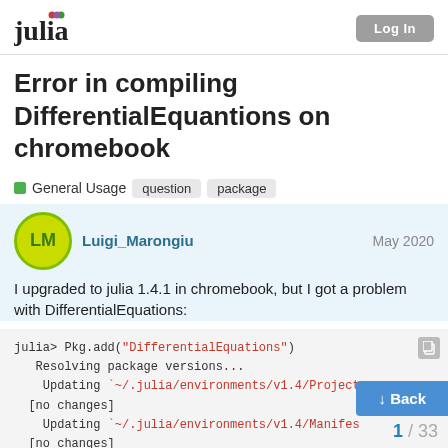julia   Log In
Error in compiling DifferentialEquantions on chromebook
General Usage  question  package
Luigi_Marongiu   May 2020
I upgraded to julia 1.4.1 in chromebook, but I got a problem with DifferentialEquations:
julia> Pkg.add("DifferentialEquations")
   Resolving package versions...
    Updating `~/.julia/environments/v1.4/Project
  [no changes]
    Updating `~/.julia/environments/v1.4/Manifes
  [no changes]
julia> using DifferentialEquat